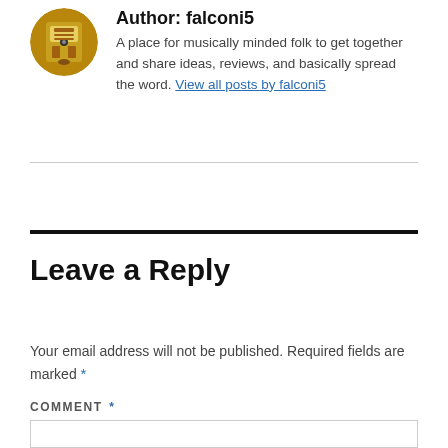[Figure (illustration): Circular avatar image showing a jukebox illustration with yellow/golden tones]
Author: falconi5
A place for musically minded folk to get together and share ideas, reviews, and basically spread the word. View all posts by falconi5
Leave a Reply
Your email address will not be published. Required fields are marked *
COMMENT *